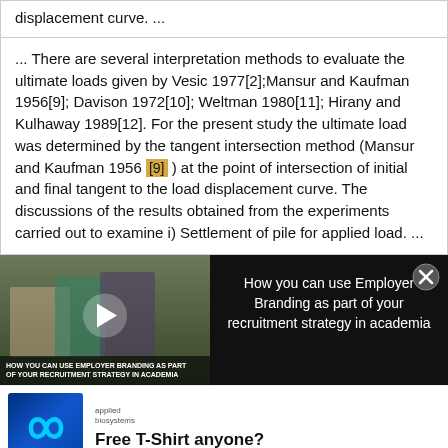displacement curve. ...
... There are several interpretation methods to evaluate the ultimate loads given by Vesic 1977[2];Mansur and Kaufman 1956[9]; Davison 1972[10]; Weltman 1980[11]; Hirany and Kulhaway 1989[12]. For the present study the ultimate load was determined by the tangent intersection method (Mansur and Kaufman 1956 [9] ) at the point of intersection of initial and final tangent to the load displacement curve. The discussions of the results obtained from the experiments carried out to examine i) Settlement of pile for applied load. ...
[Figure (screenshot): Video advertisement banner: left side shows a thumbnail of students in a library with play button and overlay text 'HOW YOU CAN USE EMPLOYER BRANDING AS PART OF YOUR RECRUITMENT STRATEGY IN ACADEMIA'; right side on dark background reads 'How you can use Employer Branding as part of your recruitment strategy in academia' with a close (X) button.]
[Figure (screenshot): Advertisement for Applied Biosystems showing logo (infinity symbol on blue background) and text 'Free T-Shirt anyone?']